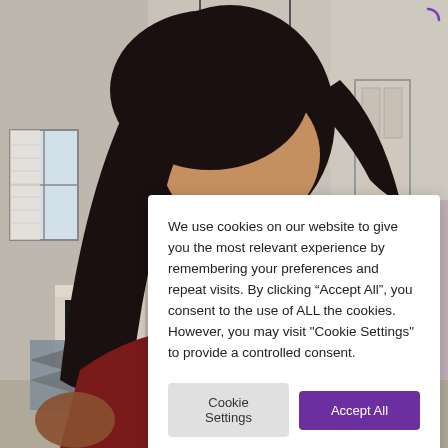[Figure (photo): A person with long dark hair taking a selfie indoors; the upper forehead and hair are visible in the upper half. The background shows a home interior with pendant lights, a window with shutters, a fireplace, and neutral walls. The person wears a dark red top and is holding a phone. The lower portion shows the person's shoulder and arm.]
We use cookies on our website to give you the most relevant experience by remembering your preferences and repeat visits. By clicking “Accept All”, you consent to the use of ALL the cookies. However, you may visit "Cookie Settings" to provide a controlled consent.
Cookie Settings
Accept All